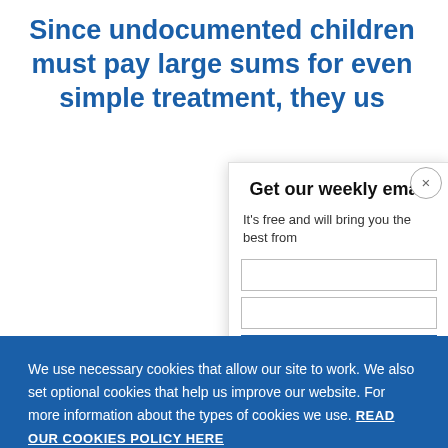Since undocumented children must pay large sums for even simple treatment, they us
Get our weekly email
It's free and will bring you the best from
We use necessary cookies that allow our site to work. We also set optional cookies that help us improve our website. For more information about the types of cookies we use. READ OUR COOKIES POLICY HERE
COOKIE SETTINGS
ALLOW ALL COOKIES
data.
completi